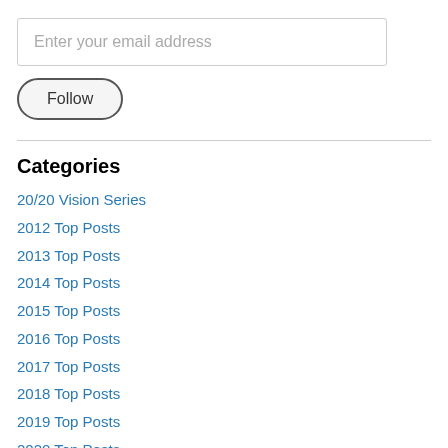Enter your email address
Follow
Categories
20/20 Vision Series
2012 Top Posts
2013 Top Posts
2014 Top Posts
2015 Top Posts
2016 Top Posts
2017 Top Posts
2018 Top Posts
2019 Top Posts
2020 Top Posts
2021 Top Posts